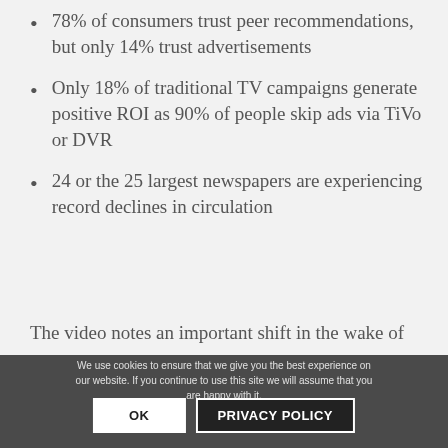78% of consumers trust peer recommendations, but only 14% trust advertisements
Only 18% of traditional TV campaigns generate positive ROI as 90% of people skip ads via TiVo or DVR
24 or the 25 largest newspapers are experiencing record declines in circulation
The video notes an important shift in the wake of social media – we no longer search for news, news finds us. This is not a new problem we've never dealt with before, but still makes implications and challenges… the challenge of reaching audiences…
We use cookies to ensure that we give you the best experience on our website. If you continue to use this site we will assume that you are happy with it.